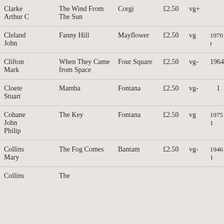| Author | Title | Publisher | Price | Condition | Year |
| --- | --- | --- | --- | --- | --- |
| Clarke Arthur C | The Wind From The Sun | Corgi | £2.50 | vg+ |  |
| Cleland John | Fanny Hill | Mayflower | £2.50 | vg | 1970 r |
| Clifton Mark | When They Came from Space | Four Square | £2.50 | vg- | 1964 |
| Cloete Stuart | Mamba | Fontana | £2.50 | vg- | 1 |
| Cohane John Philip | The Key | Fontana | £2.50 | vg | 1975 1 |
| Collins Mary | The Fog Comes | Bantam | £2.50 | vg- | 1946 1 |
| Collins | The... |  |  |  |  |